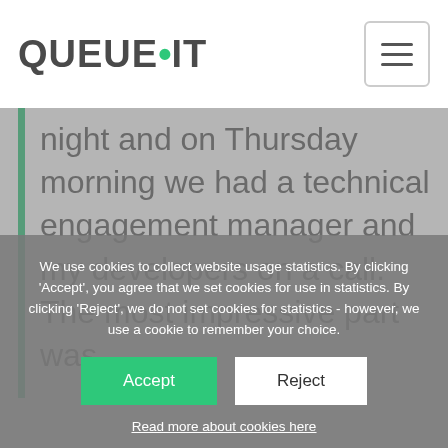QUEUE·IT
night and on Thursday morning we had a technical engagement manager and my developers on a call. The most impressive part was
We use cookies to collect website usage statistics. By clicking 'Accept', you agree that we set cookies for use in statistics. By clicking 'Reject', we do not set cookies for statistics - however, we use a cookie to remember your choice.
Accept
Reject
Read more about cookies here